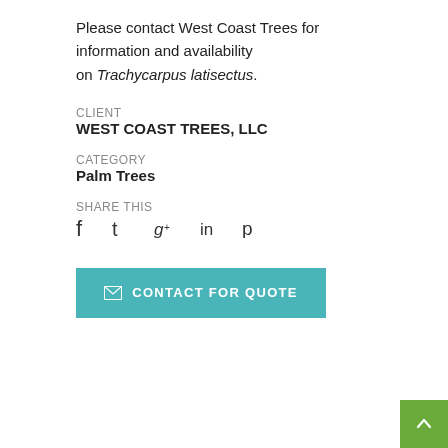Please contact West Coast Trees for information and availability on Trachycarpus latisectus.
CLIENT
WEST COAST TREES, LLC
CATEGORY
Palm Trees
SHARE THIS
[Figure (infographic): Social media share icons: Facebook, Twitter, Google+, LinkedIn, Pinterest]
CONTACT FOR QUOTE